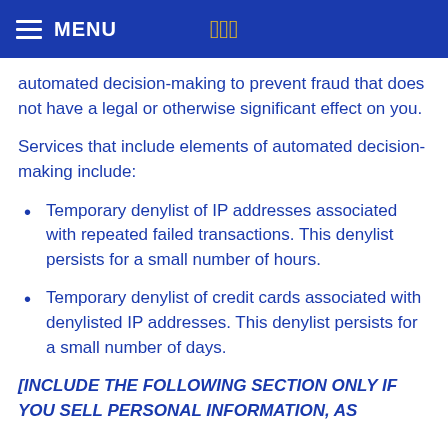MENU | JBD
automated decision-making to prevent fraud that does not have a legal or otherwise significant effect on you.
Services that include elements of automated decision-making include:
Temporary denylist of IP addresses associated with repeated failed transactions. This denylist persists for a small number of hours.
Temporary denylist of credit cards associated with denylisted IP addresses. This denylist persists for a small number of days.
[INCLUDE THE FOLLOWING SECTION ONLY IF YOU SELL PERSONAL INFORMATION, AS